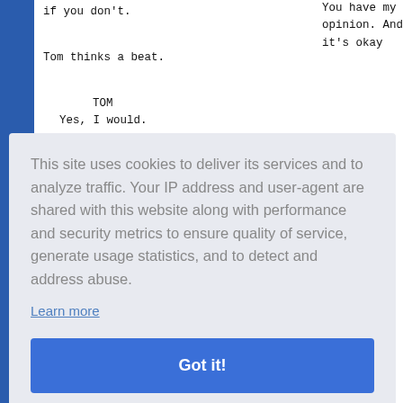You have my opinion. And it's okay if you don't.
Tom thinks a beat.
TOM
Yes, I would.
DAD
The way she just acted is not the way an affectionate person acts.
This site uses cookies to deliver its services and to analyze traffic. Your IP address and user-agent are shared with this website along with performance and security metrics to ensure quality of service, generate usage statistics, and to detect and address abuse.
Learn more
Got it!
BILL
I'd like to take everyone out after